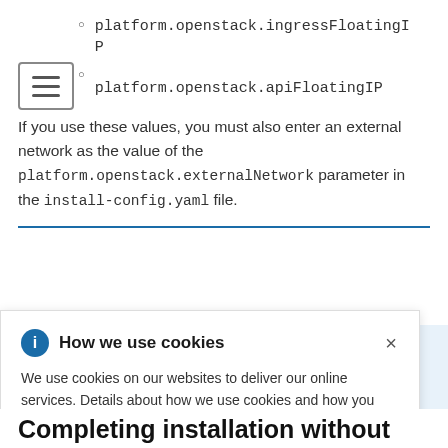platform.openstack.ingressFloatingIP
platform.openstack.apiFloatingIP
If you use these values, you must also enter an external network as the value of the platform.openstack.externalNetwork parameter in the install-config.yaml file.
[Figure (screenshot): Cookie consent popup overlay: 'How we use cookies' with blue info icon and close button. Text describes cookie usage and links to Privacy Statement.]
Completing installation without